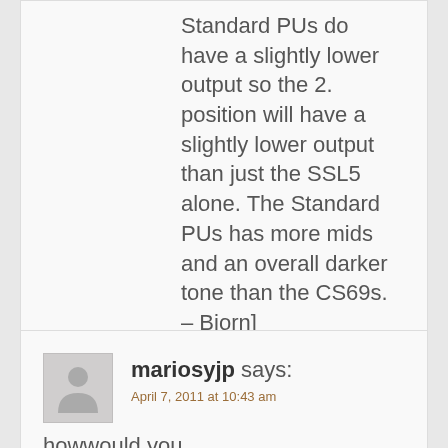Standard PUs do have a slightly lower output so the 2. position will have a slightly lower output than just the SSL5 alone. The Standard PUs has more mids and an overall darker tone than the CS69s. – Bjorn]
Reply
mariosyjp says:
April 7, 2011 at 10:43 am
howwould you